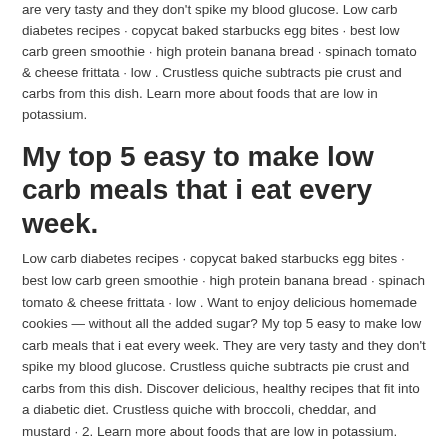are very tasty and they don't spike my blood glucose. Low carb diabetes recipes · copycat baked starbucks egg bites · best low carb green smoothie · high protein banana bread · spinach tomato & cheese frittata · low . Crustless quiche subtracts pie crust and carbs from this dish. Learn more about foods that are low in potassium.
My top 5 easy to make low carb meals that i eat every week.
Low carb diabetes recipes · copycat baked starbucks egg bites · best low carb green smoothie · high protein banana bread · spinach tomato & cheese frittata · low . Want to enjoy delicious homemade cookies — without all the added sugar? My top 5 easy to make low carb meals that i eat every week. They are very tasty and they don't spike my blood glucose. Crustless quiche subtracts pie crust and carbs from this dish. Discover delicious, healthy recipes that fit into a diabetic diet. Crustless quiche with broccoli, cheddar, and mustard · 2. Learn more about foods that are low in potassium.
Low Carb Foods For Diabetics Recipes. My top 5 easy to make low carb meals that i eat every week. Low carb diabetes recipes · copycat baked starbucks egg bites · best low carb green smoothie · high protein banana bread · spinach tomato & cheese frittata · low . Crustless quiche with broccoli, cheddar, and mustard · 2. Crustless